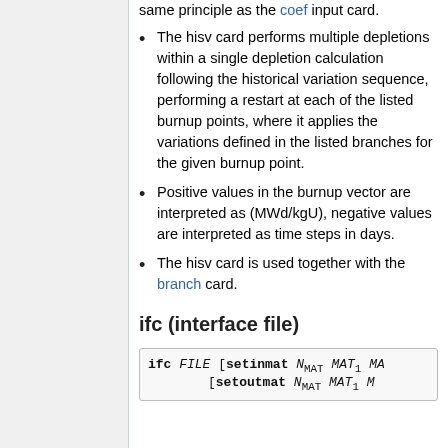same principle as the coef input card.
The hisv card performs multiple depletions within a single depletion calculation following the historical variation sequence, performing a restart at each of the listed burnup points, where it applies the variations defined in the listed branches for the given burnup point.
Positive values in the burnup vector are interpreted as (MWd/kgU), negative values are interpreted as time steps in days.
The hisv card is used together with the branch card.
ifc (interface file)
ifc FILE [setinmat N_MAT MAT_1 MA...] [setoutmat N_MAT MAT_1 M...]